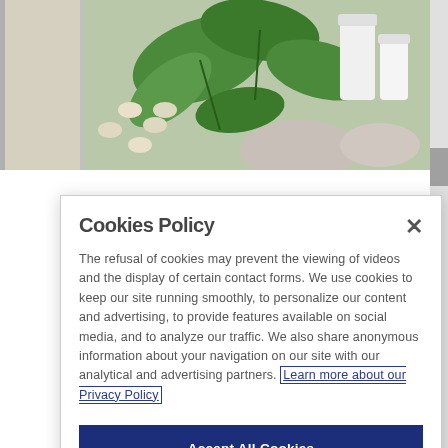[Figure (photo): Background photo showing wellness/herbal products: green leaves, white lotion bottles, and round pills/seeds on a textured surface.]
Cookies Policy
The refusal of cookies may prevent the viewing of videos and the display of certain contact forms. We use cookies to keep our site running smoothly, to personalize our content and advertising, to provide features available on social media, and to analyze our traffic. We also share anonymous information about your navigation on our site with our analytical and advertising partners. Learn more about our Privacy Policy
Accept All Cookies
Reject All
Cookies Settings